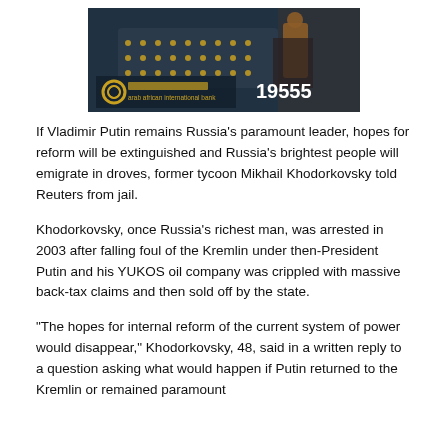[Figure (photo): Advertisement image for Arab African International Bank showing industrial/oil facility workers with the bank logo and number 19555]
If Vladimir Putin remains Russia's paramount leader, hopes for reform will be extinguished and Russia's brightest people will emigrate in droves, former tycoon Mikhail Khodorkovsky told Reuters from jail.
Khodorkovsky, once Russia's richest man, was arrested in 2003 after falling foul of the Kremlin under then-President Putin and his YUKOS oil company was crippled with massive back-tax claims and then sold off by the state.
"The hopes for internal reform of the current system of power would disappear," Khodorkovsky, 48, said in a written reply to a question asking what would happen if Putin returned to the Kremlin or remained paramount